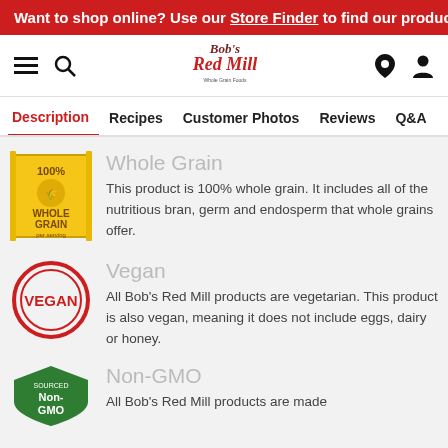Want to shop online? Use our Store Finder to find our products
[Figure (logo): Bob's Red Mill logo with illustrated character]
Description | Recipes | Customer Photos | Reviews | Q&A
[Figure (logo): 100% Whole Grain badge - yellow stamp with grain imagery]
Whole Grain
This product is 100% whole grain. It includes all of the nutritious bran, germ and endosperm that whole grains offer.
[Figure (logo): Vegan badge - red circular stamp]
Vegan
All Bob's Red Mill products are vegetarian. This product is also vegan, meaning it does not include eggs, dairy or honey.
[Figure (logo): Non-GMO Sourced badge - green shield]
Non-GMO
All Bob's Red Mill products are made